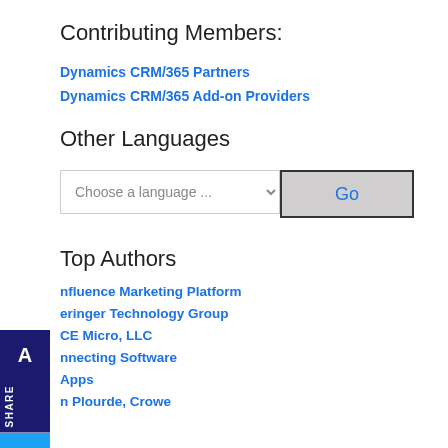Contributing Members:
Dynamics CRM/365 Partners
Dynamics CRM/365 Add-on Providers
Other Languages
[Figure (screenshot): Language selector dropdown with 'Choose a language ...' placeholder and a 'Go' button]
Top Authors
nfluence Marketing Platform
eringer Technology Group
CE Micro, LLC
nnecting Software
Apps
n Plourde, Crowe